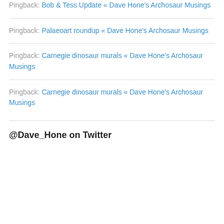Pingback: Bob & Tess Update « Dave Hone's Archosaur Musings
Pingback: Palaeoart roundup « Dave Hone's Archosaur Musings
Pingback: Carnegie dinosaur murals « Dave Hone's Archosaur Musings
Pingback: Carnegie dinosaur murals « Dave Hone's Archosaur Musings
@Dave_Hone on Twitter